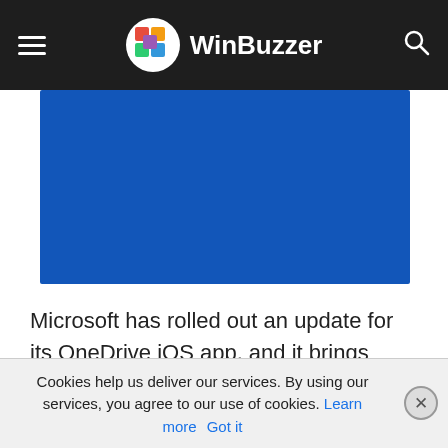WinBuzzer
[Figure (photo): Blue hero image placeholder for a WinBuzzer article about OneDrive iOS app update]
Microsoft has rolled out an update for its OneDrive iOS app, and it brings some significant features. Version 8.6.1 brings tweaks to the offline tab, a new scan feature, and more.
Cookies help us deliver our services. By using our services, you agree to our use of cookies. Learn more  Got it